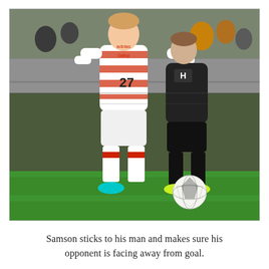[Figure (photo): A football player wearing number 27 in a white and red hooped kit (Hamilton Academical) dribbling with a football on a green pitch, challenged by an opponent in a black kit. Spectators are visible in the background near a concrete wall.]
Samson sticks to his man and makes sure his opponent is facing away from goal.